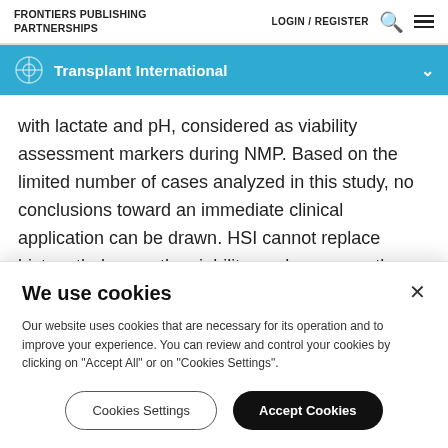FRONTIERS PUBLISHING PARTNERSHIPS
LOGIN / REGISTER
Transplant International
with lactate and pH, considered as viability assessment markers during NMP. Based on the limited number of cases analyzed in this study, no conclusions toward an immediate clinical application can be drawn. HSI cannot replace histopathology or the viability markers currently
We use cookies
Our website uses cookies that are necessary for its operation and to improve your experience. You can review and control your cookies by clicking on "Accept All" or on "Cookies Settings".
Cookies Settings
Accept Cookies